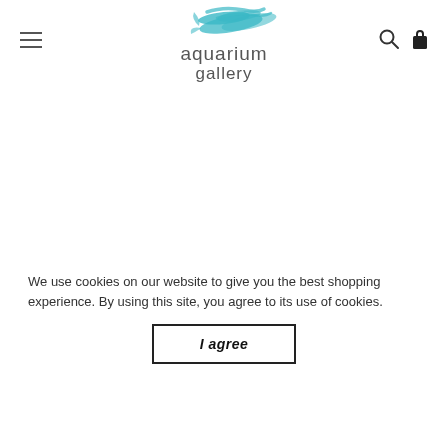[Figure (logo): Aquarium Gallery logo with teal fish/wave graphic above the text 'aquarium gallery' in grey sans-serif font]
We use cookies on our website to give you the best shopping experience. By using this site, you agree to its use of cookies.
I agree